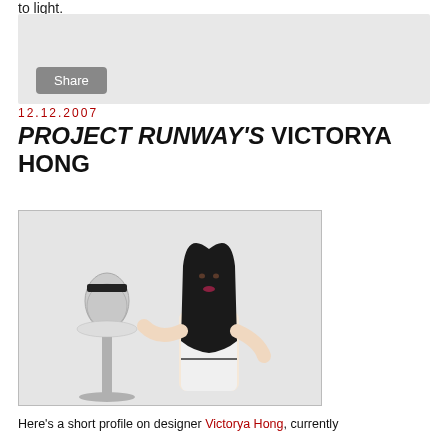to light.
[Figure (other): Share button widget with gray background]
12.12.2007
PROJECT RUNWAY'S VICTORYA HONG
[Figure (photo): Photo of Victorya Hong, a young Asian woman with long black hair, wearing a white sleeveless top with black trim, holding a small mannequin torso dressed in a silver metallic corset with tulle skirt on a candlestick stand.]
Here's a short profile on designer Victorya Hong, currently